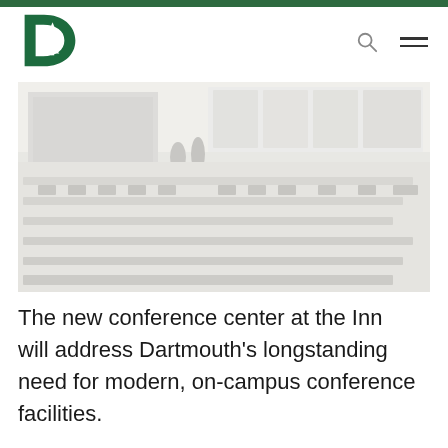[Figure (logo): Dartmouth College green D with pine tree logo]
[Figure (photo): A washed-out/faded photograph of a conference room with rows of chairs and tables, presentation screen at front, large windows in background, people silhouetted near the screen]
The new conference center at the Inn will address Dartmouth's longstanding need for modern, on-campus conference facilities.